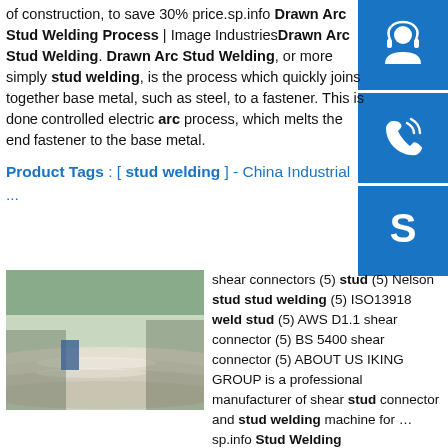of construction, to save 30% price.sp.info Drawn Arc Stud Welding Process | Image IndustriesDrawn Arc Stud Welding. Drawn Arc Stud Welding, or more simply stud welding, is the process which quickly joins together base metal, such as steel, to a fastener. This is done controlled electric arc process, which melts the end fastener to the base metal.
[Figure (other): Blue sidebar button with headset/customer service icon]
[Figure (other): Blue sidebar button with phone icon]
[Figure (other): Blue sidebar button with Skype icon]
Product Tags : [ stud welding ] - China Industrial ...
[Figure (photo): Industrial photo showing curved metal sheets/plates in a factory setting]
shear connectors (5) stud (5) Nelson stud stud welding (5) ISO13918 weld stud (5) AWS D1.1 shear connector (5) BS 5400 shear connector (5) ABOUT US IKING GROUP is a professional manufacturer of shear stud connector and stud welding machine for …sp.info Stud Welding